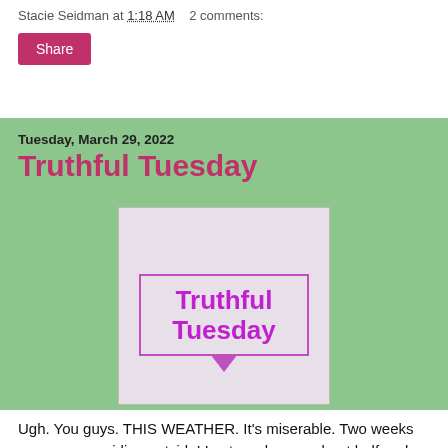Stacie Seidman at 1:18 AM   2 comments:
Share
Tuesday, March 29, 2022
Truthful Tuesday
[Figure (illustration): Speech bubble graphic on light pink/lavender background with text 'Truthful Tuesday' in bold purple inside a rectangular speech bubble with downward pointing chevron]
Ugh. You guys. THIS WEATHER. It's miserable. Two weeks ago we were riding outside! Last week were about half and half in a row. Which is probably why this week will hurt...